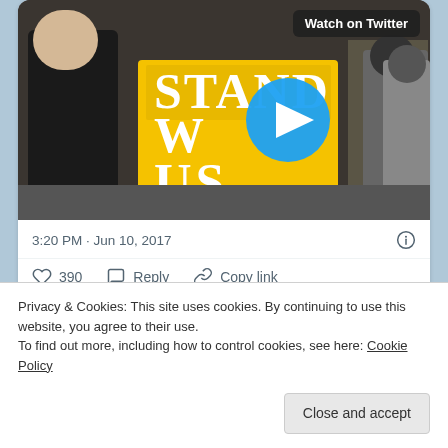[Figure (screenshot): Twitter video thumbnail showing two people near a large yellow STAND WITH US prop sign with *LAUGHS* text, with a blue play button overlay and 'Watch on Twitter' badge]
3:20 PM · Jun 10, 2017
390  Reply  Copy link
Read 7 replies
Privacy & Cookies: This site uses cookies. By continuing to use this website, you agree to their use.
To find out more, including how to control cookies, see here: Cookie Policy
Close and accept